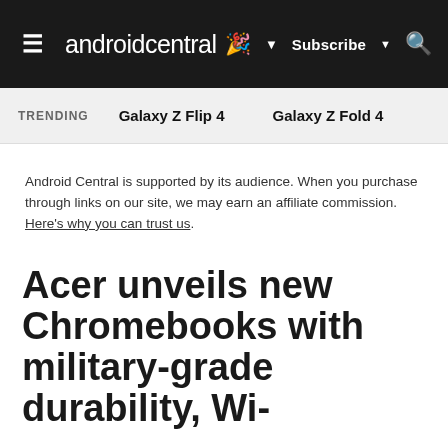androidcentral | Subscribe | Search
TRENDING   Galaxy Z Flip 4   Galaxy Z Fold 4
Android Central is supported by its audience. When you purchase through links on our site, we may earn an affiliate commission. Here's why you can trust us.
Acer unveils new Chromebooks with military-grade durability, Wi-